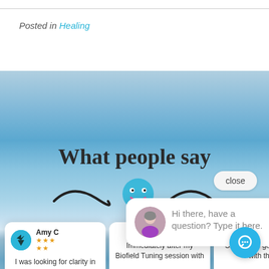Posted in Healing
[Figure (screenshot): Website screenshot showing 'What people say' section with blue sky background, a chat popup with avatar saying 'Hi there, have a question? Type it here.', review cards with Amy C and star ratings, and a blue chat circle button.]
What people say
close
Hi there, have a question? Type it here.
Amy C
I was looking for clarity in my business.
Immediately after my Biofield Tuning session with
Sandra me ge alignment with the A